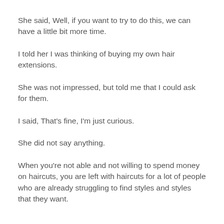She said, Well, if you want to try to do this, we can have a little bit more time.
I told her I was thinking of buying my own hair extensions.
She was not impressed, but told me that I could ask for them.
I said, That's fine, I'm just curious.
She did not say anything.
When you're not able and not willing to spend money on haircuts, you are left with haircuts for a lot of people who are already struggling to find styles and styles that they want.